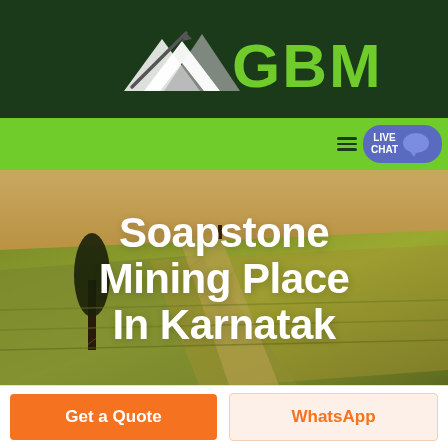[Figure (logo): GBM company logo with mountain/arrow graphic in white/gray on dark green background, with large green 'GBM' text]
LIVE CHAT
[Figure (photo): Aerial view of agricultural fields with rolling terrain and a lone tree, warm sunset tones of green and orange]
Soapstone Mining Place In Karnatak
Get a Quote
WhatsApp